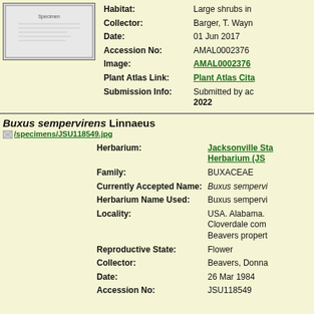[Figure (photo): Specimen sheet image thumbnail]
| Habitat: | Large shrubs in |
| Collector: | Barger, T. Wayn |
| Date: | 01 Jun 2017 |
| Accession No: | AMAL0002376 |
| Image: | AMAL0002376 |
| Plant Atlas Link: | Plant Atlas Cita |
| Submission Info: | Submitted by ac 2022 |
Buxus sempervirens Linnaeus
[Figure (photo): Link to specimen image /specimens/JSU118549.jpg]
| Herbarium: | Jacksonville Sta Herbarium (JS |
| Family: | BUXACEAE |
| Currently Accepted Name: | Buxus sempervi |
| Herbarium Name Used: | Buxus sempervi |
| Locality: | USA. Alabama. Cloverdale com Beavers propert |
| Reproductive State: | Flower |
| Collector: | Beavers, Donna |
| Date: | 26 Mar 1984 |
| Accession No: | JSU118549 |